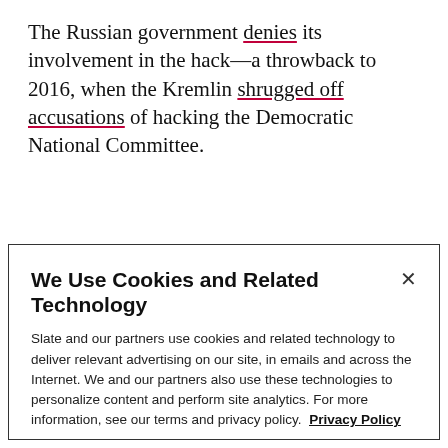The Russian government denies its involvement in the hack—a throwback to 2016, when the Kremlin shrugged off accusations of hacking the Democratic National Committee.
ADVERTISEMENT
We Use Cookies and Related Technology
Slate and our partners use cookies and related technology to deliver relevant advertising on our site, in emails and across the Internet. We and our partners also use these technologies to personalize content and perform site analytics. For more information, see our terms and privacy policy. Privacy Policy